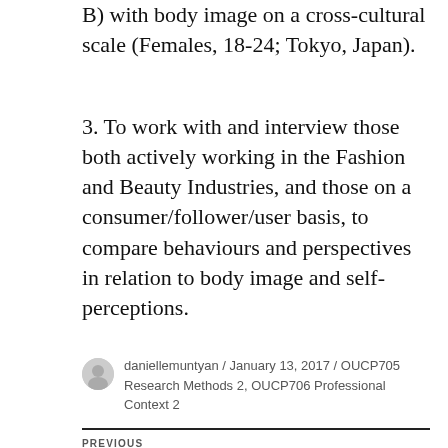B) with body image on a cross-cultural scale (Females, 18-24; Tokyo, Japan).
3. To work with and interview those both actively working in the Fashion and Beauty Industries, and those on a consumer/follower/user basis, to compare behaviours and perspectives in relation to body image and self-perceptions.
daniellemuntyan / January 13, 2017 / OUCP705 Research Methods 2, OUCP706 Professional Context 2
Previous
'Cultivating Japanese